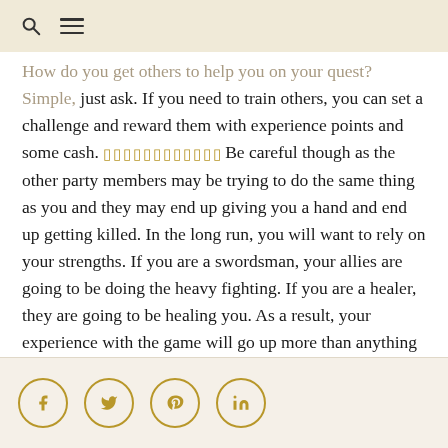[search icon] [menu icon]
How do you get others to help you on your quest? Simple, just ask. If you need to train others, you can set a challenge and reward them with experience points and some cash. [gold squares] Be careful though as the other party members may be trying to do the same thing as you and they may end up giving you a hand and end up getting killed. In the long run, you will want to rely on your strengths. If you are a swordsman, your allies are going to be doing the heavy fighting. If you are a healer, they are going to be healing you. As a result, your experience with the game will go up more than anything else.
[Figure (other): Social media share buttons: Facebook (f), Twitter (bird), Pinterest (p), LinkedIn (in) — circular gold-outlined icons on a beige bar]